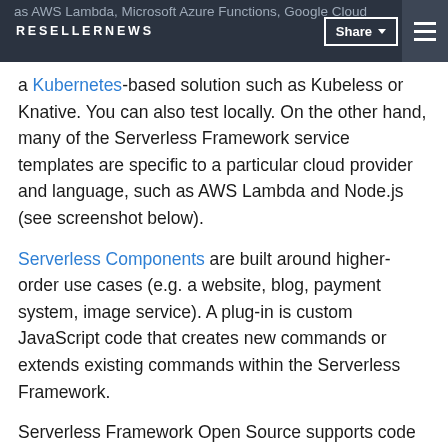RESELLERNEWS | Share | [menu]
as AWS Lambda, Microsoft Azure Functions, Google Cloud Functions, Apache OpenWhisk, or Cloudflare Workers, a Kubernetes-based solution such as Kubeless or Knative. You can also test locally. On the other hand, many of the Serverless Framework service templates are specific to a particular cloud provider and language, such as AWS Lambda and Node.js (see screenshot below).
Serverless Components are built around higher-order use cases (e.g. a website, blog, payment system, image service). A plug-in is custom JavaScript code that creates new commands or extends existing commands within the Serverless Framework.
Serverless Framework Open Source supports code in Node.js, Python, Java, Go, C#, Ruby, Swift, Kotlin, PHP, Scala, and more. Serverless Framework Pro provides the